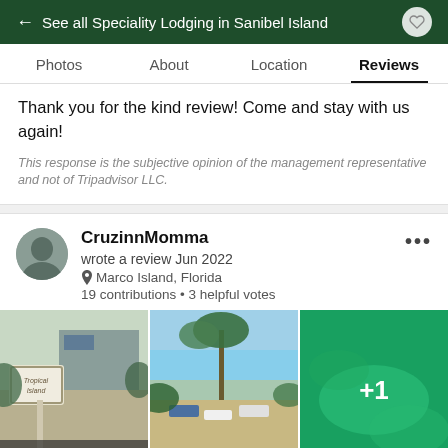← See all Speciality Lodging in Sanibel Island
Photos   About   Location   Reviews
Thank you for the kind review! Come and stay with us again!
This response is the subjective opinion of the management representative and not of Tripadvisor LLC.
CruzinnMomma
wrote a review Jun 2022
Marco Island, Florida
19 contributions • 3 helpful votes
[Figure (photo): Three photos: a tropical resort sign, beach chairs under palm trees, and a green water/aerial shot with +1 overlay]
The Perfect Beach Get...